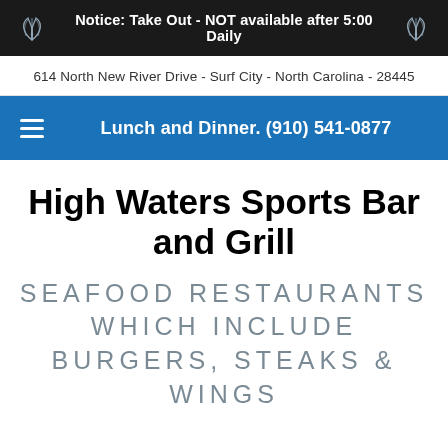Notice: Take Out - NOT available after 5:00 Daily
614 North New River Drive - Surf City - North Carolina - 28445
Lunch and Dinner. (910) 541-0877
High Waters Sports Bar and Grill
SEAFOOD RESTAURANTS WHICH INCLUDE BURGERS, STEAKS & WINGS